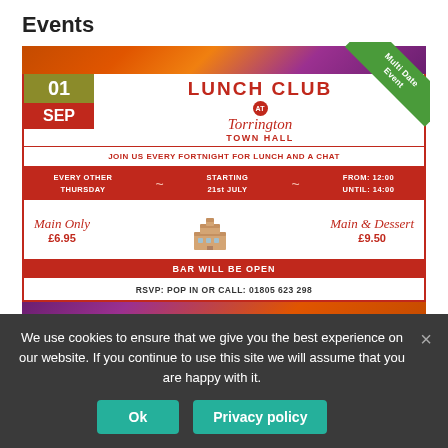Events
[Figure (infographic): Event flyer for Lunch Club at Torrington Town Hall. Date: 01 SEP. Multi Date Event ribbon. Join us every fortnight for lunch and a chat. Every other Thursday, starting 21st July, from 12:00 until 14:00. Main Only £6.95, Main & Dessert £9.50. Bar will be open. RSVP: pop in or call 01805 623 298.]
We use cookies to ensure that we give you the best experience on our website. If you continue to use this site we will assume that you are happy with it.